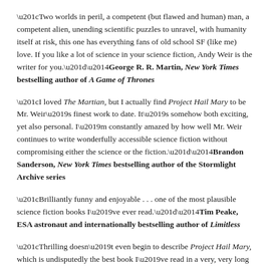“Two worlds in peril, a competent (but flawed and human) man, a competent alien, unending scientific puzzles to unravel, with humanity itself at risk, this one has everything fans of old school SF (like me) love. If you like a lot of science in your science fiction, Andy Weir is the writer for you.”—George R. R. Martin, New York Times bestselling author of A Game of Thrones
“I loved The Martian, but I actually find Project Hail Mary to be Mr. Weir’s finest work to date. It’s somehow both exciting, yet also personal. I’m constantly amazed by how well Mr. Weir continues to write wonderfully accessible science fiction without compromising either the science or the fiction.”—Brandon Sanderson, New York Times bestselling author of the Stormlight Archive series
“Brilliantly funny and enjoyable . . . one of the most plausible science fiction books I’ve ever read.”—Tim Peake, ESA astronaut and internationally bestselling author of Limitless
“Thrilling doesn’t even begin to describe Project Hail Mary, which is undisputedly the best book I’ve read in a very, very long time . . . I cheered, I laughed (a lot), I cried, and when the twist arrived and the book revealed its true target, my jaw hit the floor. Mark my words: Project